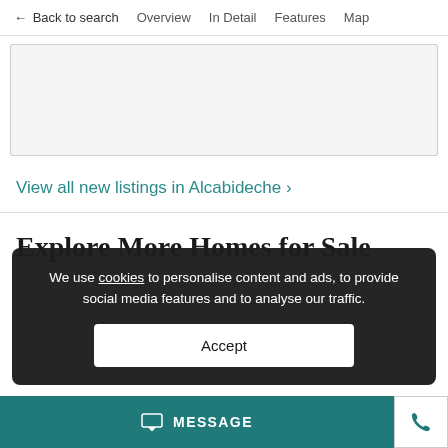← Back to search   Overview   In Detail   Features   Map
[Figure (photo): Property image placeholder area]
View all new listings in Alcabideche ›
Explore More Homes for Sale
We use cookies to personalise content and ads, to provide social media features and to analyse our traffic.
Accept
HOMES FOR SALE NEARBY ALCABIDECHE, PORTUGAL
Homes for sale in Setubal, Portugal
MESSAGE